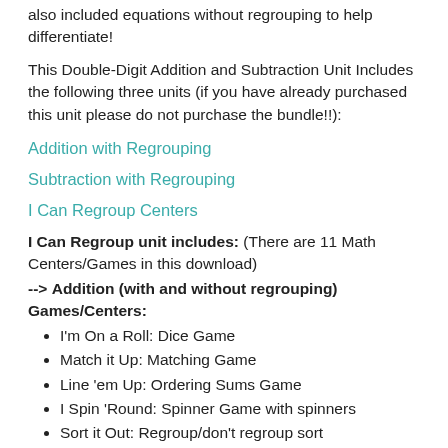also included equations without regrouping to help differentiate!
This Double-Digit Addition and Subtraction Unit Includes the following three units (if you have already purchased this unit please do not purchase the bundle!!):
Addition with Regrouping
Subtraction with Regrouping
I Can Regroup Centers
I Can Regroup unit includes: (There are 11 Math Centers/Games in this download)
--> Addition (with and without regrouping) Games/Centers:
I'm On a Roll: Dice Game
Match it Up: Matching Game
Line 'em Up: Ordering Sums Game
I Spin 'Round: Spinner Game with spinners
Sort it Out: Regroup/don't regroup sort
Top/False: Students sort addition problems